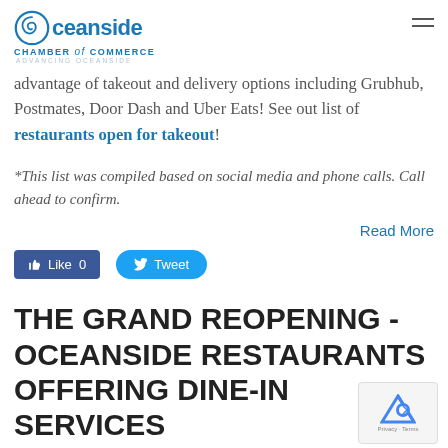Oceanside Chamber of Commerce - Advancing Oceanside
advantage of takeout and delivery options including Grubhub, Postmates, Door Dash and Uber Eats! See out list of restaurants open for takeout!
*This list was compiled based on social media and phone calls. Call ahead to confirm.
Read More
[Figure (screenshot): Facebook Like button with count 0 and Twitter Tweet button]
THE GRAND REOPENING - OCEANSIDE RESTAURANTS OFFERING DINE-IN SERVICES